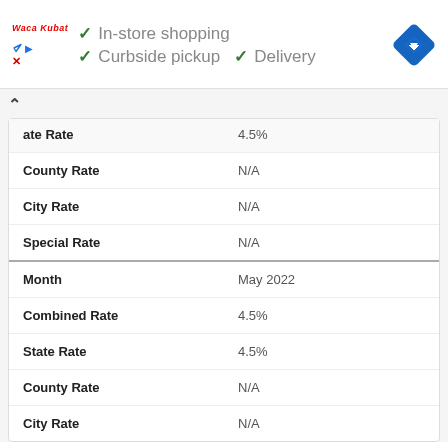[Figure (screenshot): Walmart Neighborhood Market logo and Google Maps navigation icon with in-store shopping, curbside pickup, and delivery indicators]
| State Rate | 4.5% |
| County Rate | N/A |
| City Rate | N/A |
| Special Rate | N/A |
| Month | May 2022 |
| Combined Rate | 4.5% |
| State Rate | 4.5% |
| County Rate | N/A |
| City Rate | N/A |